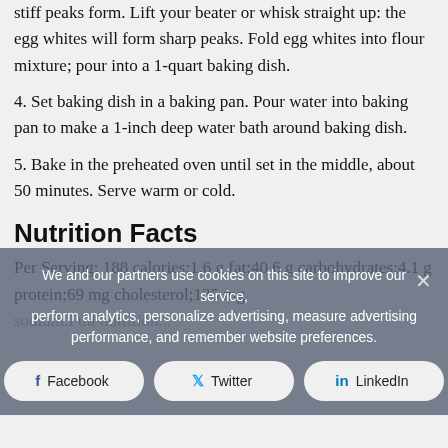stiff peaks form. Lift your beater or whisk straight up: the egg whites will form sharp peaks. Fold egg whites into flour mixture; pour into a 1-quart baking dish.
4. Set baking dish in a baking pan. Pour water into baking pan to make a 1-inch deep water bath around baking dish.
5. Bake in the preheated oven until set in the middle, about 50 minutes. Serve warm or cold.
Nutrition Facts
Per Serving: 188 calories;1.6 g fat;40.6 g carbohydrates;4.1 g protein;69 mg cholesterol;135 mg sodium.Full nutrition...
We and our partners use cookies on this site to improve our service, perform analytics, personalize advertising, measure advertising performance, and remember website preferences.
Facebook  Twitter  LinkedIn